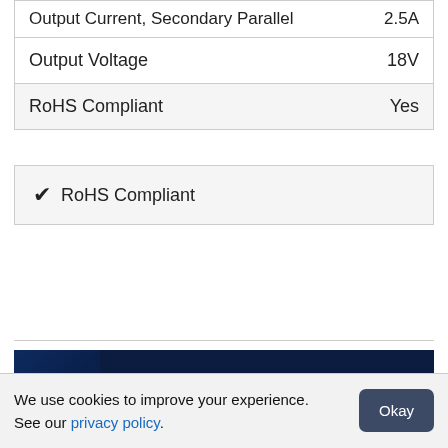| Output Current, Secondary Parallel | 2.5A |
| Output Voltage | 18V |
| RoHS Compliant | Yes |
✔ RoHS Compliant
[Figure (infographic): Farnell advertisement banner: Supporting Smart Manufacturing. We are industrial: Sensors, PLCs, HMIs, SBCs. Learn More button. Farnell logo with swoosh graphic and circuit board image.]
We use cookies to improve your experience. See our privacy policy. [Okay button]